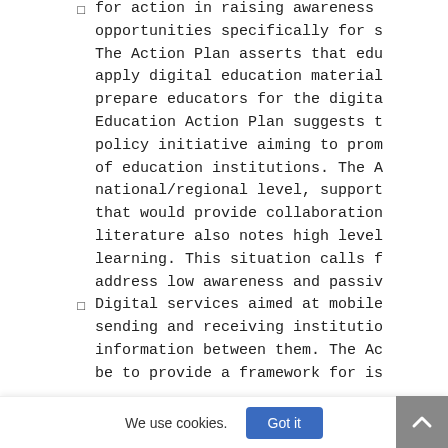for action in raising awareness opportunities specifically for s The Action Plan asserts that edu apply digital education material prepare educators for the digita Education Action Plan suggests t policy initiative aiming to prom of education institutions. The A national/regional level, support that would provide collaboration literature also notes high level learning. This situation calls f address low awareness and passiv
Digital services aimed at mobile sending and receiving institutio information between them. The Ac be to provide a framework for is